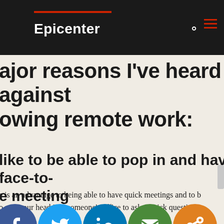Epicenter
major reasons I've heard against allowing remote work:
like to be able to pop in and have a face-to-face meeting
is an advantage to being able to have quick meetings and to be able to pop your head into someone's office to ask a quick question.
[Figure (infographic): Social share buttons: Facebook (dark blue circle with f), Twitter (light blue circle with bird), LinkedIn (teal circle with in), Email (green circle with envelope), Share (orange circle with share icon)]